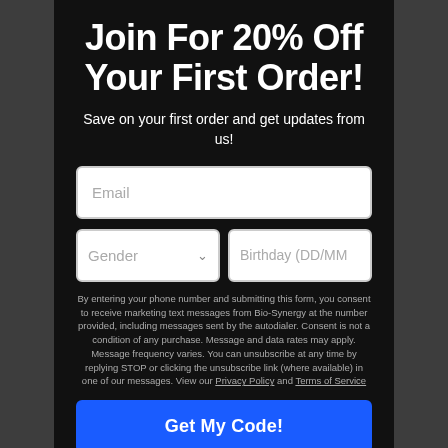Join For 20% Off Your First Order!
Save on your first order and get updates from us!
Email
Gender
Birthday (DD/MM
By entering your phone number and submitting this form, you consent to receive marketing text messages from Bio-Synergy at the number provided, including messages sent by the autodialer. Consent is not a condition of any purchase. Message and data rates may apply. Message frequency varies. You can unsubscribe at any time by replying STOP or clicking the unsubscribe link (where available) in one of our messages. View our Privacy Policy and Terms of Service
Get My Code!